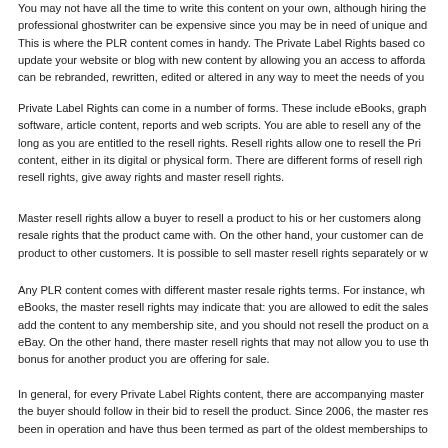You may not have all the time to write this content on your own, although hiring the professional ghostwriter can be expensive since you may be in need of unique and... This is where the PLR content comes in handy. The Private Label Rights based co... update your website or blog with new content by allowing you an access to afforda... can be rebranded, rewritten, edited or altered in any way to meet the needs of your...
Private Label Rights can come in a number of forms. These include eBooks, graph... software, article content, reports and web scripts. You are able to resell any of these as long as you are entitled to the resell rights. Resell rights allow one to resell the Priv... content, either in its digital or physical form. There are different forms of resell right... resell rights, give away rights and master resell rights.
Master resell rights allow a buyer to resell a product to his or her customers along... resale rights that the product came with. On the other hand, your customer can de... product to other customers. It is possible to sell master resell rights separately or w...
Any PLR content comes with different master resale rights terms. For instance, wh... eBooks, the master resell rights may indicate that: you are allowed to edit the sales... add the content to any membership site, and you should not resell the product on a... eBay. On the other hand, there master resell rights that may not allow you to use th... bonus for another product you are offering for sale.
In general, for every Private Label Rights content, there are accompanying master... the buyer should follow in their bid to resell the product. Since 2006, the master res... been in operation and have thus been termed as part of the oldest memberships to...